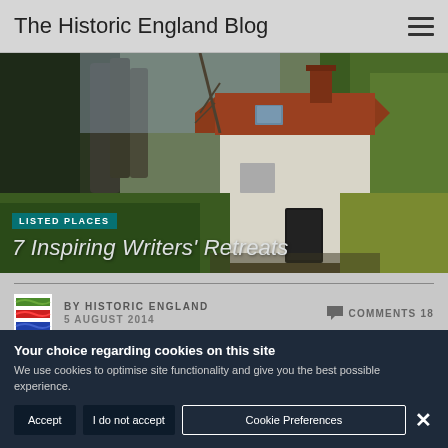The Historic England Blog
[Figure (photo): Exterior photo of a small historic white-walled cottage with a red-tiled roof and chimney, surrounded by trees with bare winter branches and green shrubbery]
LISTED PLACES
7 Inspiring Writers' Retreats
BY HISTORIC ENGLAND
5 AUGUST 2014
COMMENTS 18
Your choice regarding cookies on this site
We use cookies to optimise site functionality and give you the best possible experience.
Accept
I do not accept
Cookie Preferences